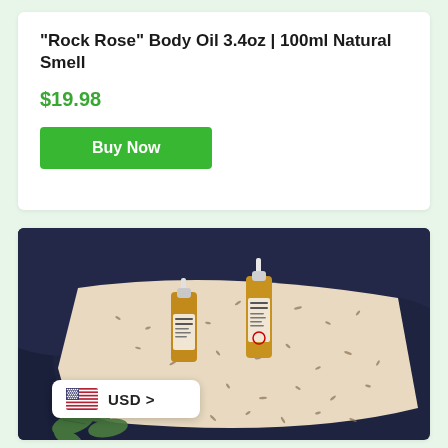"Rock Rose" Body Oil 3.4oz | 100ml Natural Smell
$19.98
Buy Now
[Figure (photo): Two small amber dropper bottles of body oil lying on a cream-colored surface scattered with dried herbs, with dark navy fabric in the background and fresh green leaves in the foreground.]
USD >